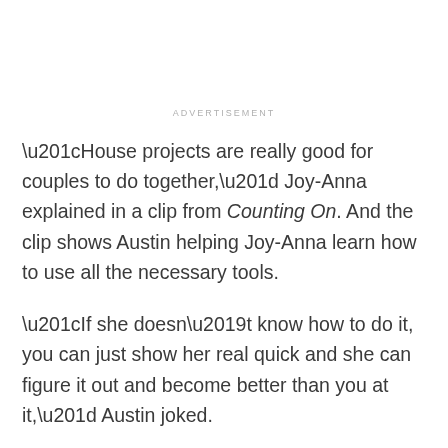ADVERTISEMENT
“House projects are really good for couples to do together,” Joy-Anna explained in a clip from Counting On. And the clip shows Austin helping Joy-Anna learn how to use all the necessary tools.
“If she doesn’t know how to do it, you can just show her real quick and she can figure it out and become better than you at it,” Austin joked.